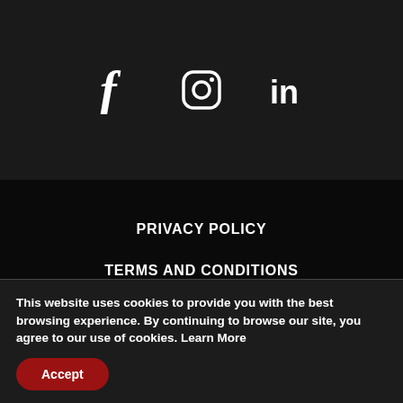[Figure (illustration): Social media icons: Facebook (f), Instagram (circle with camera), LinkedIn (in) displayed in white on dark background]
PRIVACY POLICY
TERMS AND CONDITIONS
SALES CONDITIONS
RETURNS
This website uses cookies to provide you with the best browsing experience. By continuing to browse our site, you agree to our use of cookies. Learn More
Accept